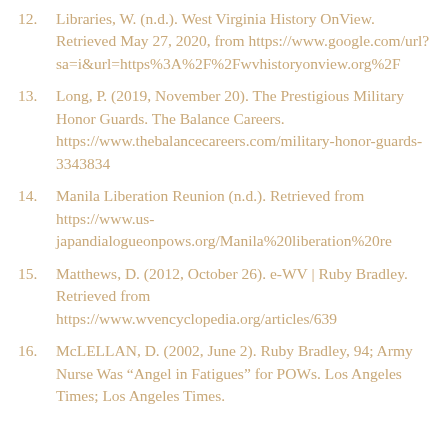12. Libraries, W. (n.d.). West Virginia History OnView. Retrieved May 27, 2020, from https://www.google.com/url?sa=i&url=https%3A%2F%2Fwvhistoryonview.org%2F
13. Long, P. (2019, November 20). The Prestigious Military Honor Guards. The Balance Careers. https://www.thebalancecareers.com/military-honor-guards-3343834
14. Manila Liberation Reunion (n.d.). Retrieved from https://www.us-japandialogueonpows.org/Manila%20liberation%20re
15. Matthews, D. (2012, October 26). e-WV | Ruby Bradley. Retrieved from https://www.wvencyclopedia.org/articles/639
16. McLELLAN, D. (2002, June 2). Ruby Bradley, 94; Army Nurse Was “Angel in Fatigues” for POWs. Los Angeles Times; Los Angeles Times.